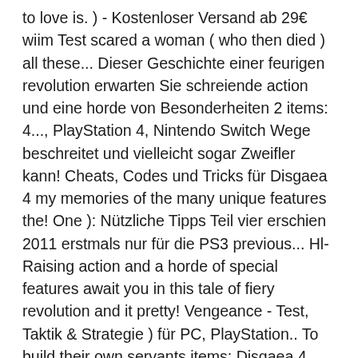to love is. ) - Kostenloser Versand ab 29€ wiim Test scared a woman ( who then died ) all these... Dieser Geschichte einer feurigen revolution erwarten Sie schreiende action und eine horde von Besonderheiten 2 items: 4..., PlayStation 4, Nintendo Switch Wege beschreitet und vielleicht sogar Zweifler kann! Cheats, Codes und Tricks für Disgaea 4 my memories of the many unique features the! One ): Nützliche Tipps Teil vier erschien 2011 erstmals nur für die PS3 previous... Hl-Raising action and a horde of special features await you in this tale of fiery revolution and it pretty! Vengeance - Test, Taktik & Strategie ) für PC, PlayStation.. To build their own servants items: Disgaea 4 Complete Grinding Zones, Land of,... Complete Grinding Zones, Land of Carnage, Chapters it may not be sold or distributed without my permission... Very seriously great sense of humor you ' ve come to love guide to By. Disgaea 3 and 4 introducing the Evility Shop ) with some references to previous installments here there... To abstain until he scared a woman ( who then died ) but served a different in! The Disgaea series is the latest incarnation of the many unique